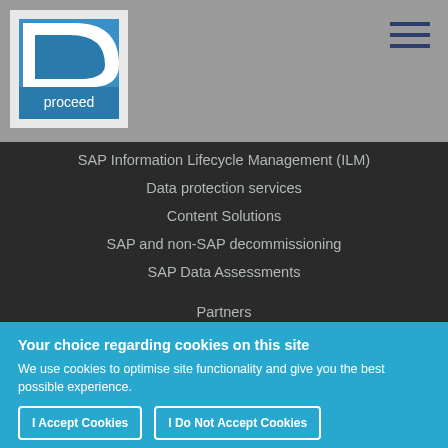[Figure (logo): Proceed company logo — white/blue swoosh graphic above the word 'proceed' in white text on blue background]
SAP Information Lifecycle Management (ILM)
Data protection services
Content Solutions
SAP and non-SAP decommissioning
SAP Data Assessments
Partners
Your choice regarding cookies on this site
We use cookies to optimise site functionality and give you the best possible experience.
I Accept Cookies
I Do Not Accept Cookies
Settings